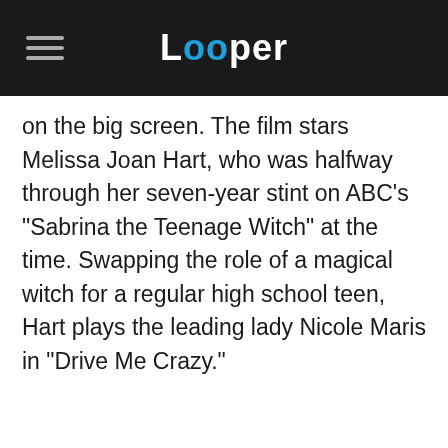Looper
on the big screen. The film stars Melissa Joan Hart, who was halfway through her seven-year stint on ABC's "Sabrina the Teenage Witch" at the time. Swapping the role of a magical witch for a regular high school teen, Hart plays the leading lady Nicole Maris in "Drive Me Crazy."